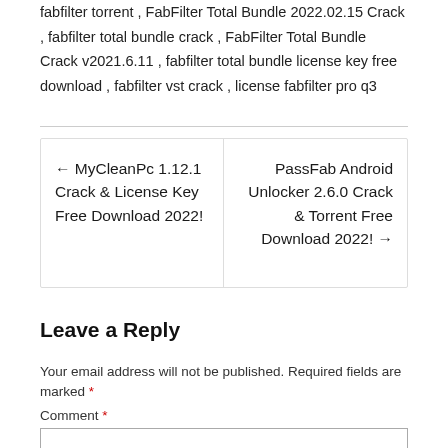fabfilter torrent , FabFilter Total Bundle 2022.02.15 Crack , fabfilter total bundle crack , FabFilter Total Bundle Crack v2021.6.11 , fabfilter total bundle license key free download , fabfilter vst crack , license fabfilter pro q3
← MyCleanPc 1.12.1 Crack & License Key Free Download 2022!
PassFab Android Unlocker 2.6.0 Crack & Torrent Free Download 2022! →
Leave a Reply
Your email address will not be published. Required fields are marked *
Comment *